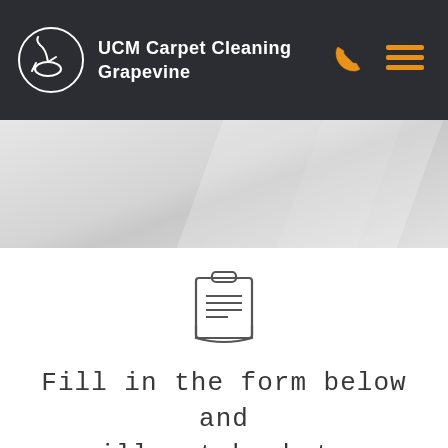UCM Carpet Cleaning Grapevine
[Figure (illustration): Light gray hero banner with diagonal geometric highlight]
[Figure (illustration): Clipboard with lines icon, outline style]
Fill in the form below and we will get back to you
full name